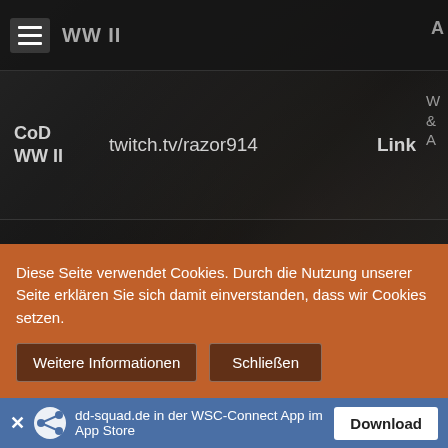WW II  [hamburger menu]  A
| Game | Channel/Name | Link | Extra |
| --- | --- | --- | --- |
| CoD WW II | twitch.tv/razor914 | Link | W & A |
| CoD WW II | FUTFUT | Link | W |
| CoD WW II | Wizzkid | Link | W |
| CoD WW II | JA(PL) | Link | A |
Diese Seite verwendet Cookies. Durch die Nutzung unserer Seite erklären Sie sich damit einverstanden, dass wir Cookies setzen.
Weitere Informationen
Schließen
dd-squad.de in der WSC-Connect App im App Store  Download